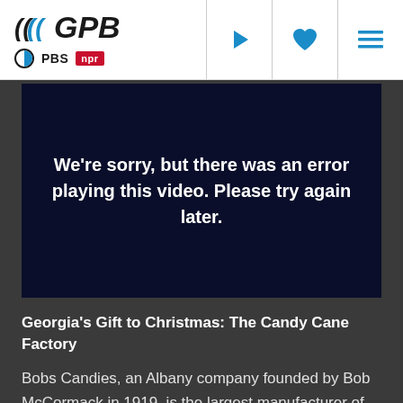[Figure (logo): GPB logo with PBS and NPR sub-logos in white header bar with play, heart, and menu icons]
[Figure (screenshot): Dark navy video player showing error message: We're sorry, but there was an error playing this video. Please try again later.]
Georgia's Gift to Christmas: The Candy Cane Factory
Bobs Candies, an Albany company founded by Bob McCormack in 1919, is the largest manufacturer of